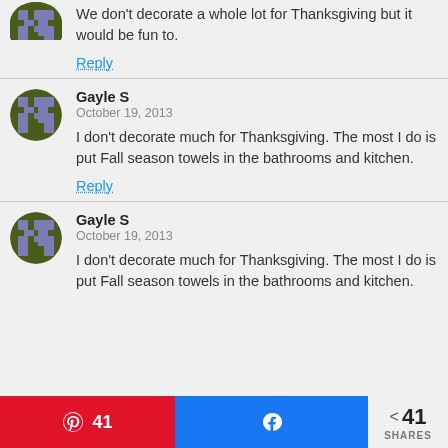We don’t decorate a whole lot for Thanksgiving but it would be fun to.
Reply
Gayle S
October 19, 2013
I don’t decorate much for Thanksgiving. The most I do is put Fall season towels in the bathrooms and kitchen.
Reply
Gayle S
October 19, 2013
I don’t decorate much for Thanksgiving. The most I do is put Fall season towels in the bathrooms and kitchen.
41 SHARES